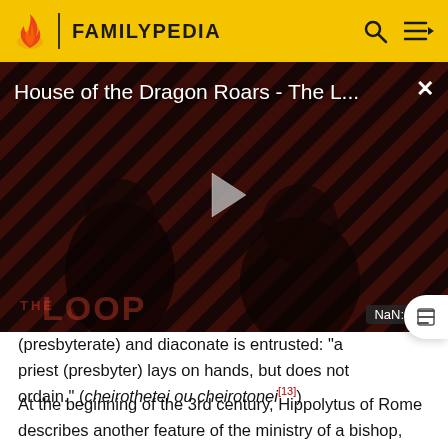FAMILYPEDIA
[Figure (screenshot): Video player showing 'House of the Dragon Roars - The L...' with a play button overlay, diagonal red and black striped banner background, THE LOOP logo at bottom left, NaN:NaN timestamp, and a close X button.]
(presbyterate) and diaconate is entrusted: "a priest (presbyter) lays on hands, but does not ordain." (cheirothetei ou cheirotonei[13])
At the beginning of the 3rd century, Hippolytus of Rome describes another feature of the ministry of a bishop,